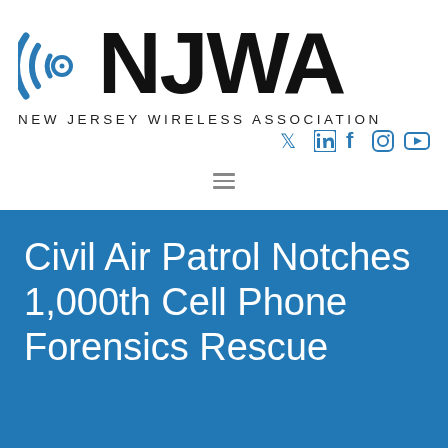[Figure (logo): NJWA - New Jersey Wireless Association logo with circular arc emblem and large NJWA text]
[Figure (infographic): Social media icons: Twitter, LinkedIn, Facebook, Instagram, YouTube in blue]
Civil Air Patrol Notches 1,000th Cell Phone Forensics Rescue